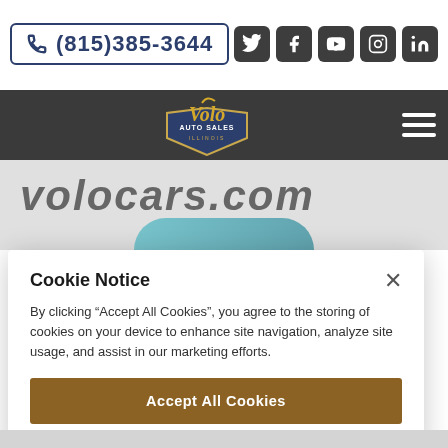(815)385-3644
[Figure (logo): Volo Auto Sales Illinois logo with golden script lettering and shield emblem]
[Figure (screenshot): volocars.com website banner showing italic gray text 'volocars.com' and partial view of a teal/blue classic car]
Cookie Notice
By clicking “Accept All Cookies”, you agree to the storing of cookies on your device to enhance site navigation, analyze site usage, and assist in our marketing efforts.
Accept All Cookies
Cookies Settings